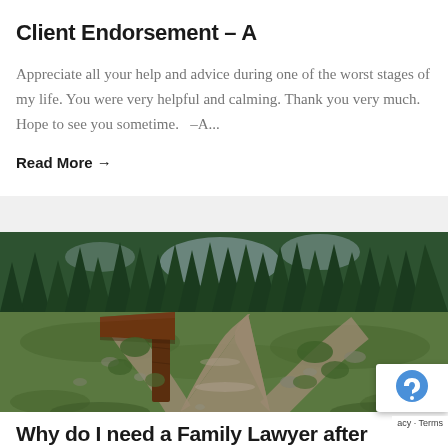Client Endorsement – A
Appreciate all your help and advice during one of the worst stages of my life. You were very helpful and calming. Thank you very much. Hope to see you sometime.   –A...
Read More →
[Figure (photo): A forest trail splitting into two paths, with a rustic wooden signpost in the foreground and dense evergreen trees in the background.]
Why do I need a Family Lawyer after